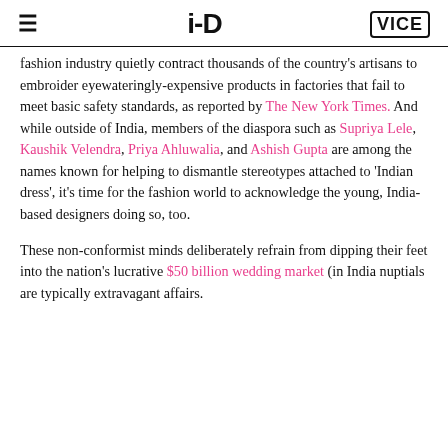i-D | VICE
fashion industry quietly contract thousands of the country's artisans to embroider eyewateringly-expensive products in factories that fail to meet basic safety standards, as reported by The New York Times. And while outside of India, members of the diaspora such as Supriya Lele, Kaushik Velendra, Priya Ahluwalia, and Ashish Gupta are among the names known for helping to dismantle stereotypes attached to 'Indian dress', it's time for the fashion world to acknowledge the young, India-based designers doing so, too.
These non-conformist minds deliberately refrain from dipping their feet into the nation's lucrative $50 billion wedding market (in India nuptials are typically extravagant affairs.